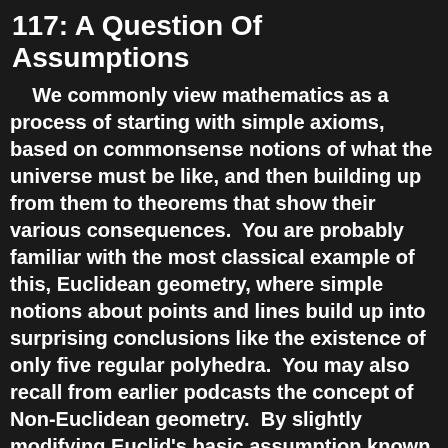117: A Question Of Assumptions
We commonly view mathematics as a process of starting with simple axioms, based on commonsense notions of what the universe must be like, and then building up from them to theorems that show their various consequences.  You are probably familiar with the most classical example of this, Euclidean geometry, where simple notions about points and lines build up into surprising conclusions like the existence of only five regular polyhedra.  You may also recall from earlier podcasts the concept of Non-Euclidean geometry.  By slightly modifying Euclid's basic assumption known as the Parallel Postulate, which specifies that only one parallel can be drawn to a line through an external point, we are able to come up with